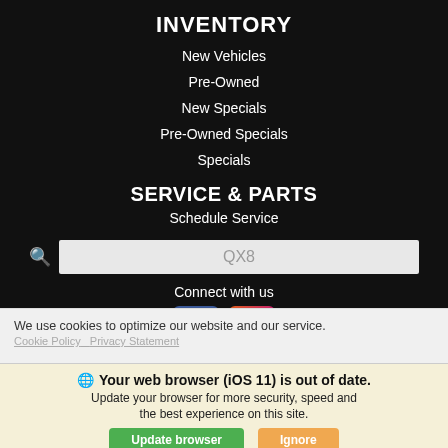INVENTORY
New Vehicles
Pre-Owned
New Specials
Pre-Owned Specials
Specials
SERVICE & PARTS
Schedule Service
QX8
Connect with us
[Figure (logo): Facebook and Instagram social media icons]
We use cookies to optimize our website and our service.
Cookie Policy   Privacy Statement
Your web browser (iOS 11) is out of date. Update your browser for more security, speed and the best experience on this site.
Update browser   Ignore